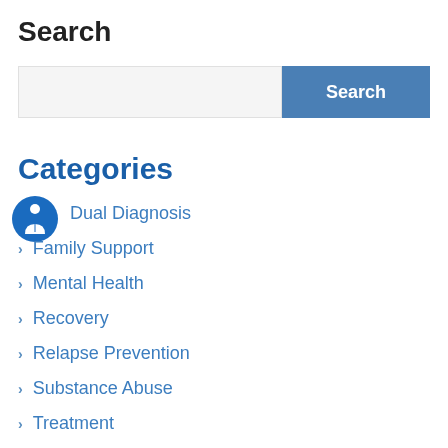Search
[Figure (other): Search input bar with a text field on the left (light gray background) and a blue Search button on the right]
Categories
[Figure (other): Blue circular icon with a person/accessibility figure in white]
Dual Diagnosis
Family Support
Mental Health
Recovery
Relapse Prevention
Substance Abuse
Treatment